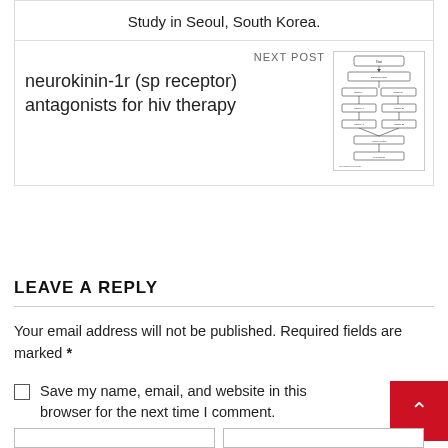Study in Seoul, South Korea.
NEXT POST
neurokinin-1r (sp receptor) antagonists for hiv therapy
[Figure (flowchart): Small thumbnail of a flowchart diagram related to the next post about neurokinin-1r antagonists for HIV therapy]
LEAVE A REPLY
Your email address will not be published. Required fields are marked *
Save my name, email, and website in this browser for the next time I comment.